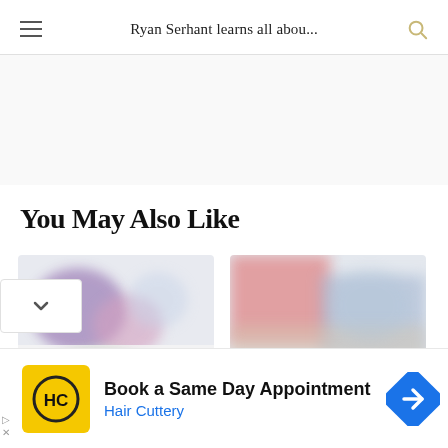Ryan Serhant learns all abou...
You May Also Like
[Figure (photo): Blurred floral image thumbnail for recommended article]
[Figure (photo): Blurred colorful image thumbnail for recommended article]
Book a Same Day Appointment
Hair Cuttery